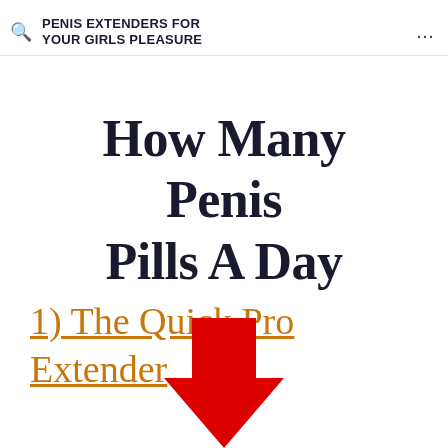PENIS EXTENDERS FOR YOUR GIRLS PLEASURE
How Many Penis Pills A Day
1) The Quick Pro Extender
[Figure (illustration): A large red downward-pointing arrow graphic]